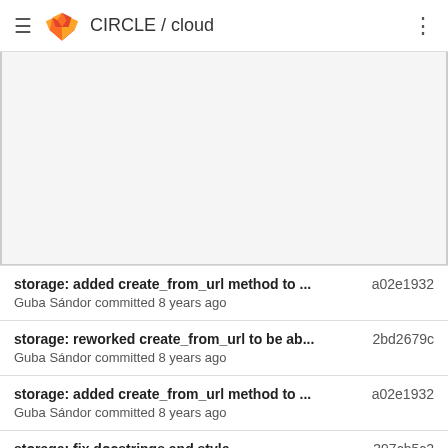CIRCLE / cloud
storage: added create_from_url method to ... a02e1932
Guba Sándor committed 8 years ago
storage: reworked create_from_url to be ab... 2bd2679c
Guba Sándor committed 8 years ago
storage: added create_from_url method to ... a02e1932
Guba Sándor committed 8 years ago
storage: fix docstrings and style 397cb5c2
Őry Máté committed 8 years ago